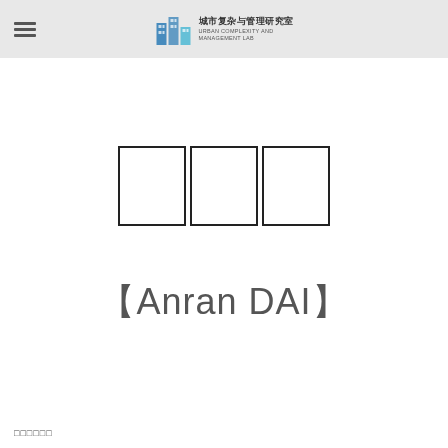城市复杂与管理研究室 Urban Complexity and Management Lab
□□□
【Anran DAI】
□□□□□□